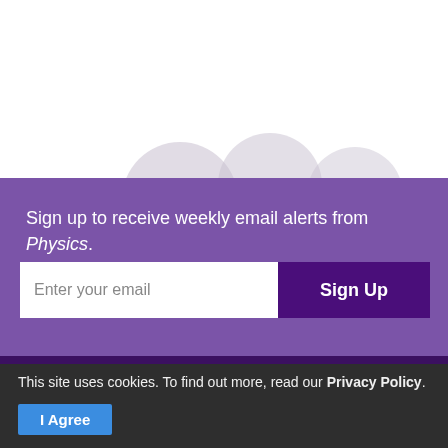[Figure (illustration): Decorative grey circles overlapping at the top edge of the purple section, partially cut off]
Sign up to receive weekly email alerts from Physics.
[Figure (screenshot): Email signup form with text input placeholder 'Enter your email' and a dark purple 'Sign Up' button]
APS
News and Announcements
This site uses cookies. To find out more, read our Privacy Policy.
[Figure (other): Blue 'I Agree' button for cookie consent]
Contact Us